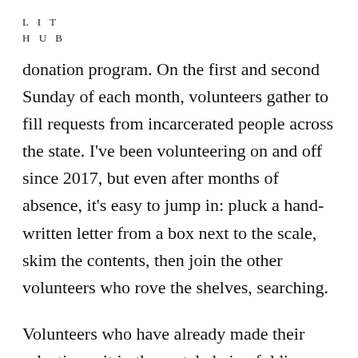L I T
H U B
donation program. On the first and second Sunday of each month, volunteers gather to fill requests from incarcerated people across the state. I've been volunteering on and off since 2017, but even after months of absence, it's easy to jump in: pluck a hand-written letter from a box next to the scale, skim the contents, then join the other volunteers who rove the shelves, searching.
Volunteers who have already made their selections sit in the metal chairs, folding bundles of books into sliced open paper bags, securing